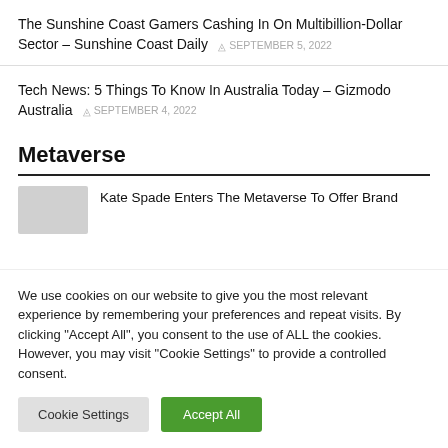The Sunshine Coast Gamers Cashing In On Multibillion-Dollar Sector – Sunshine Coast Daily  SEPTEMBER 5, 2022
Tech News: 5 Things To Know In Australia Today – Gizmodo Australia  SEPTEMBER 4, 2022
Metaverse
Kate Spade Enters The Metaverse To Offer Brand
We use cookies on our website to give you the most relevant experience by remembering your preferences and repeat visits. By clicking "Accept All", you consent to the use of ALL the cookies. However, you may visit "Cookie Settings" to provide a controlled consent.